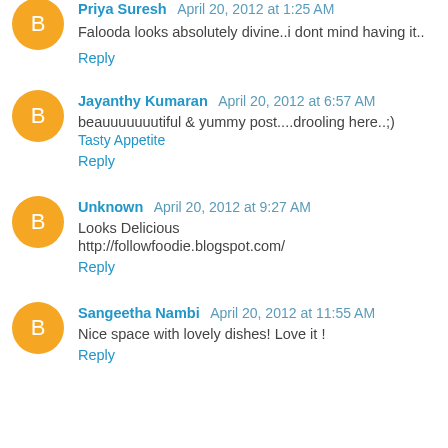Priya Suresh April 20, 2012 at 1:25 AM
Falooda looks absolutely divine..i dont mind having it..
Reply
Jayanthy Kumaran April 20, 2012 at 6:57 AM
beauuuuuuutiful & yummy post....drooling here..;)
Tasty Appetite
Reply
Unknown April 20, 2012 at 9:27 AM
Looks Delicious
http://followfoodie.blogspot.com/
Reply
Sangeetha Nambi April 20, 2012 at 11:55 AM
Nice space with lovely dishes! Love it !
Reply